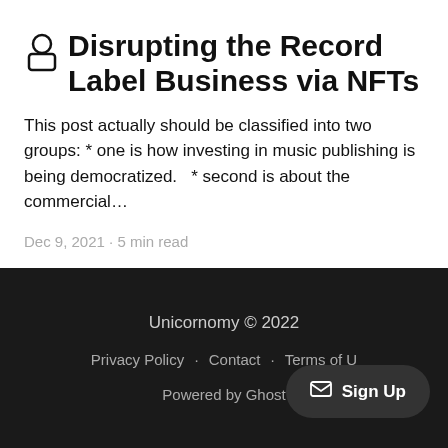Disrupting the Record Label Business via NFTs
This post actually should be classified into two groups: * one is how investing in music publishing is being democratized.   * second is about the commercial…
Dec 9, 2021 · 5 min read
Unicornomy © 2022
Privacy Policy · Contact · Terms of U
Powered by Ghost